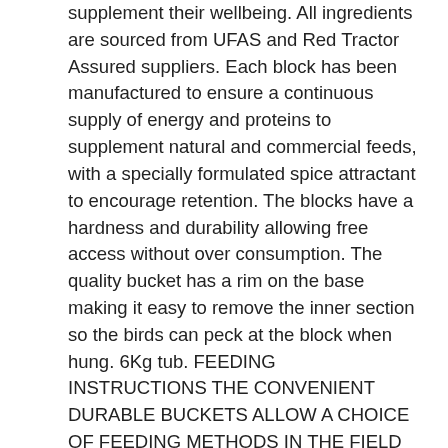supplement their wellbeing. All ingredients are sourced from UFAS and Red Tractor Assured suppliers. Each block has been manufactured to ensure a continuous supply of energy and proteins to supplement natural and commercial feeds, with a specially formulated spice attractant to encourage retention. The blocks have a hardness and durability allowing free access without over consumption. The quality bucket has a rim on the base making it easy to remove the inner section so the birds can peck at the block when hung. 6Kg tub. FEEDING INSTRUCTIONS THE CONVENIENT DURABLE BUCKETS ALLOW A CHOICE OF FEEDING METHODS IN THE FIELD The method below provides protection from the weather and vermin. If desired the product can also be removed from the bucket and used in another feeder. Use the bucket as a feed dispenser. Do not remove the lid. Cut round the inner ridge of the plastic base to expose the feed. Leave feed exposed on ground for a short time for birds to become familiar. Hang by the